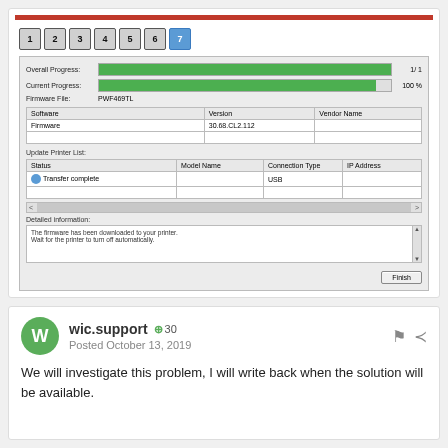[Figure (screenshot): Firmware update wizard screenshot showing step 7 active, Overall Progress 1/1 (green bar full), Current Progress 100% (green bar full), Firmware File: PWF469TL. Software table showing Firmware version 30.68.CL2.112. Update Printer List section with Status/Model Name/Connection Type/IP Address columns. Transfer complete row with USB connection type. Detail information box saying 'The firmware has been downloaded to your printer. Wait for the printer to turn off automatically.' Finish button at bottom right.]
wic.support
+30
Posted October 13, 2019
We will investigate this problem, I will write back when the solution will be available.